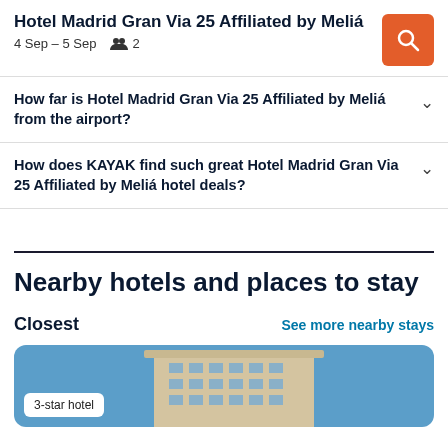Hotel Madrid Gran Via 25 Affiliated by Meliá | 4 Sep – 5 Sep | 2 guests
How far is Hotel Madrid Gran Via 25 Affiliated by Meliá from the airport?
How does KAYAK find such great Hotel Madrid Gran Via 25 Affiliated by Meliá hotel deals?
Nearby hotels and places to stay
Closest
See more nearby stays
[Figure (photo): Hotel building exterior photo with blue sky background, labeled '3-star hotel']